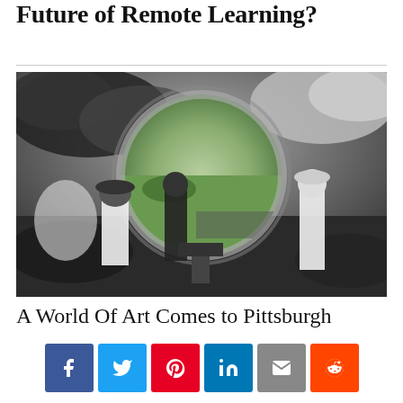Future of Remote Learning?
[Figure (photo): Black and white collage-style photograph showing a group of workers or soldiers in an industrial or outdoor setting, with a large circular portal/lens element in the center revealing a green landscape, set against a dramatic cloudy sky.]
A World Of Art Comes to Pittsburgh
[Figure (infographic): Social sharing buttons row: Facebook (blue), Twitter (light blue), Pinterest (red), LinkedIn (dark blue), Email (grey), Reddit (orange)]